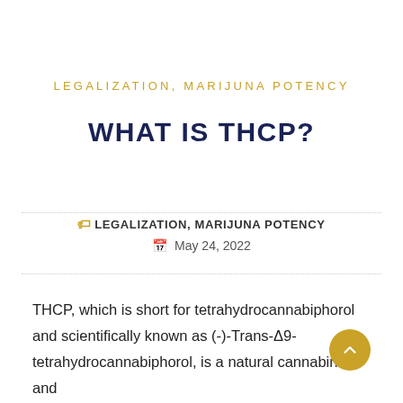LEGALIZATION, MARIJUNA POTENCY
WHAT IS THCP?
LEGALIZATION, MARIJUNA POTENCY
May 24, 2022
THCP, which is short for tetrahydrocannabiphorol and scientifically known as (-)-Trans-Δ9-tetrahydrocannabiphorol, is a natural cannabinoid and